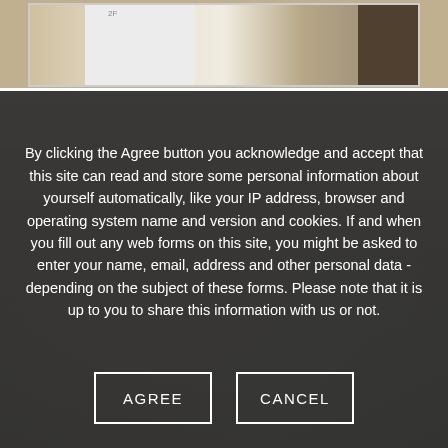[Figure (photo): Interior room photo showing what appears to be a white appliance or unit in a hallway or small room, partially visible at the top of the page]
By clicking the Agree button you acknowledge and accept that this site can read and store some personal information about yourself automatically, like your IP address, browser and operating system name and version and cookies. If and when you fill out any web forms on this site, you might be asked to enter your name, email, address and other personal data - depending on the subject of these forms. Please note that it is up to you to share this information with us or not.
AGREE
CANCEL